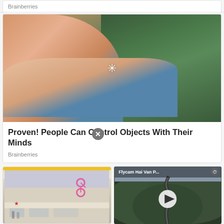Brainberries
[Figure (photo): Man with hands outstretched, green foliage in background, close-up photo with asterisk/sparkle overlay]
Proven! People Can Control Objects With Their Minds
Brainberries
[Figure (photo): Shopping mall exterior with yellow barrier, pink bicycle sign visible]
[Figure (screenshot): Video thumbnail: aerial flycam view of winding road through green mountains. Title: Flycam Hai Van P... with play button overlay]